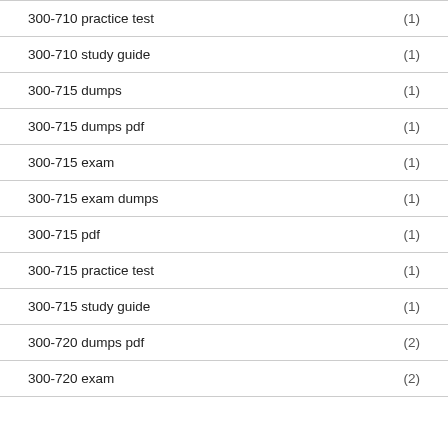300-710 practice test (1)
300-710 study guide (1)
300-715 dumps (1)
300-715 dumps pdf (1)
300-715 exam (1)
300-715 exam dumps (1)
300-715 pdf (1)
300-715 practice test (1)
300-715 study guide (1)
300-720 dumps pdf (2)
300-720 exam (2)